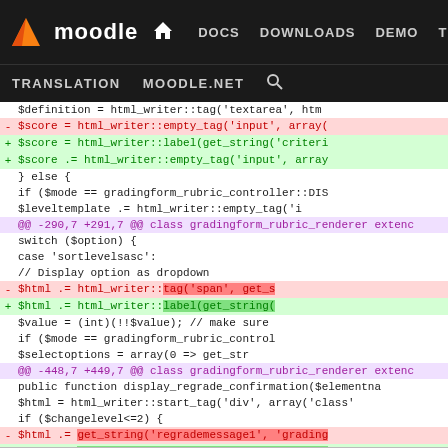moodle | DOCS DOWNLOADS DEMO TRACKER DEV | TRANSLATION MOODLE.NET
[Figure (screenshot): Moodle developer site navigation bar with logo and menu items: DOCS, DOWNLOADS, DEMO, TRACKER, DEV (active), TRANSLATION, MOODLE.NET, search icon]
Code diff showing changes to gradingform_rubric_renderer class with red (removed) and green (added) lines, including diff hunks at -290,7 +291,7 and -448,7 +449,7
[Figure (screenshot): Code diff view from Moodle tracker showing PHP code changes in gradingform rubric renderer]